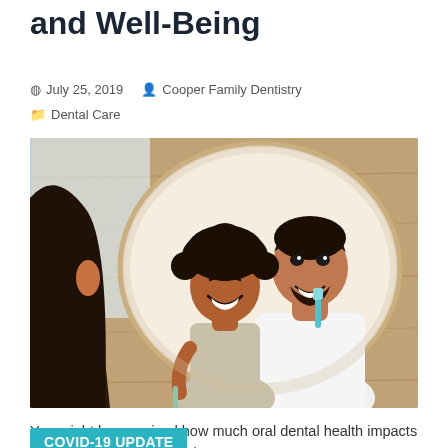and Well-Being
July 25, 2019   Cooper Family Dentistry
Dental Care
[Figure (photo): A father and child smiling and brushing teeth together, reflected in a bathroom oval mirror, with wood-panel wall background.]
You might be surprised how much oral dental health impacts overall wellness! Did you know your
COVID-19 UPDATE